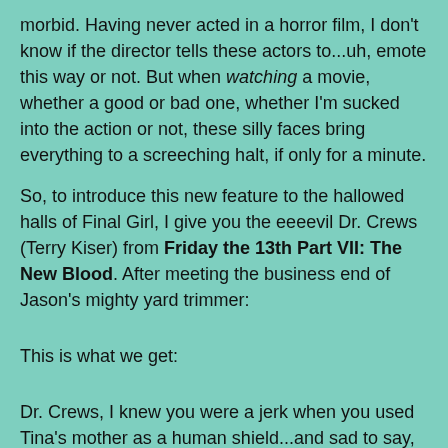morbid. Having never acted in a horror film, I don't know if the director tells these actors to...uh, emote this way or not. But when watching a movie, whether a good or bad one, whether I'm sucked into the action or not, these silly faces bring everything to a screeching halt, if only for a minute.
So, to introduce this new feature to the hallowed halls of Final Girl, I give you the eeeevil Dr. Crews (Terry Kiser) from Friday the 13th Part VII: The New Blood. After meeting the business end of Jason's mighty yard trimmer:
This is what we get:
Dr. Crews, I knew you were a jerk when you used Tina's mother as a human shield...and sad to say, it's therefore fitting that you die looking so stupid.
Stacie Ponder at 4:15 PM